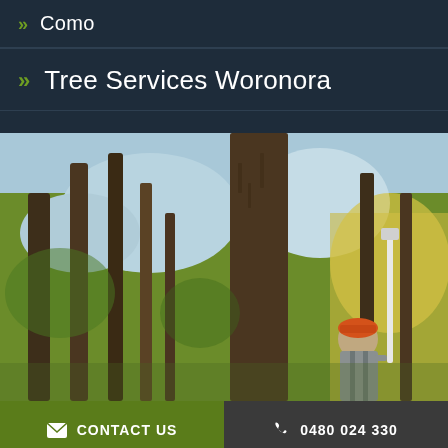Como
Tree Services Woronora
[Figure (photo): A tree service worker wearing an orange hard hat, viewed from behind, standing in front of a large tree in a forest setting. The worker appears to be using a long pole tool. Green foliage and sky are visible in the background.]
CONTACT US   0480 024 330